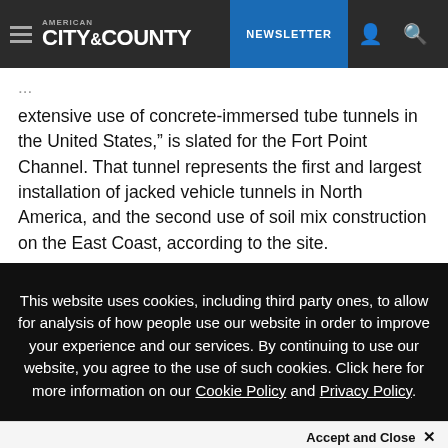AMERICAN CITY & COUNTY | NEWSLETTER
extensive use of concrete-immersed tube tunnels in the United States," is slated for the Fort Point Channel. That tunnel represents the first and largest installation of jacked vehicle tunnels in North America, and the second use of soil mix construction on the East Coast, according to the site.
This website uses cookies, including third party ones, to allow for analysis of how people use our website in order to improve your experience and our services. By continuing to use our website, you agree to the use of such cookies. Click here for more information on our Cookie Policy and Privacy Policy.
Accept and Close ✕
Your browser settings do not allow cross-site tracking for advertising. Click on this page to allow AdRoll to use cross-site tracking to tailor ads to you. Learn more or opt out of this AdRoll tracking by clicking here. This message only appears once.